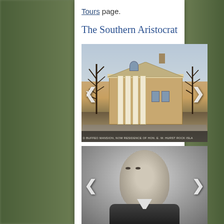Tours page.
The Southern Aristocrat
[Figure (photo): Historic mansion with Greek Revival columns, sepia-toned photograph. Caption reads: D BUFFEO MANSION, NOW RESIDENCE OF HON. E. W. HURST ROCK ISLA[ND]]
[Figure (photo): Black and white portrait photograph of an older gentleman with short white/grey hair]